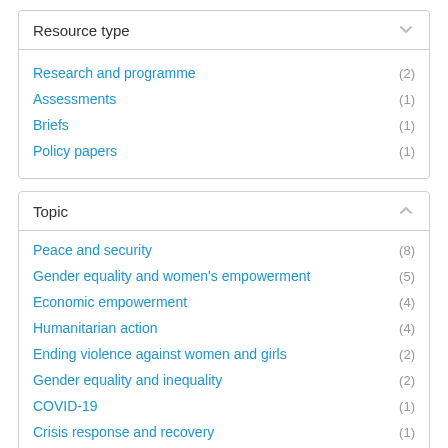Resource type
Research and programme (2)
Assessments (1)
Briefs (1)
Policy papers (1)
Topic
Peace and security (8)
Gender equality and women's empowerment (5)
Economic empowerment (4)
Humanitarian action (4)
Ending violence against women and girls (2)
Gender equality and inequality (2)
COVID-19 (1)
Crisis response and recovery (1)
Health (1)
HIV and AIDS (1)